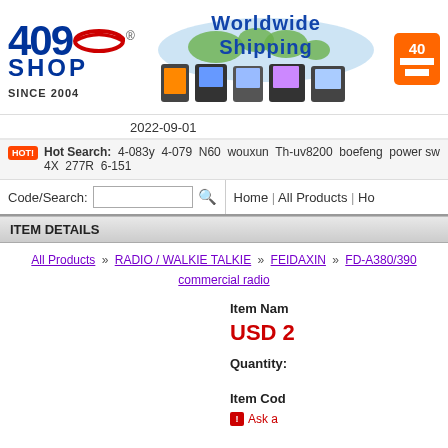[Figure (logo): 409Shop logo with red swoosh, '409 SHOP' text in blue, and 'SINCE 2004' below]
[Figure (illustration): Worldwide Shipping banner with world map graphic and radio product images]
[Figure (logo): 409 orange square logo in top right corner]
2022-09-01
Hot Search: 4-083y 4-079 N60 wouxun Th-uv8200 boefeng power sw 4X 277R 6-151
Code/Search:
Home | All Products | Ho
ITEM DETAILS
All Products » RADIO / WALKIE TALKIE » FEIDAXIN » FD-A380/390 commercial radio
Item Nam
USD 2
Quantity:
Item Cod
Ask a